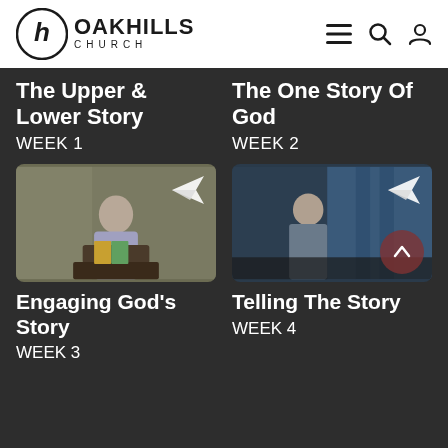[Figure (screenshot): Oak Hills Church website header with logo and navigation icons (hamburger menu, search, user)]
The Upper & Lower Story
WEEK 1
The One Story Of God
WEEK 2
[Figure (photo): Preacher standing at podium with books, paper airplane icon overlay]
Engaging God's Story
WEEK 3
[Figure (photo): Preacher standing on stage in front of blue curtain, paper airplane icon overlay]
Telling The Story
WEEK 4